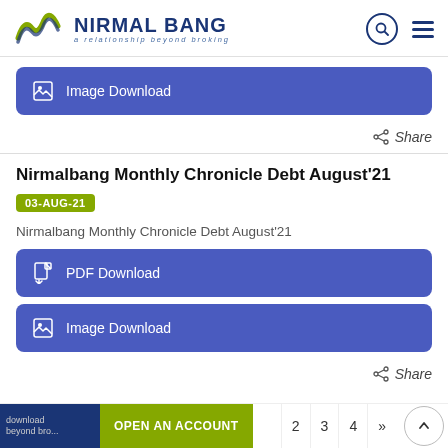[Figure (logo): Nirmal Bang logo with wave icon and tagline 'a relationship beyond broking']
Image Download
Share
Nirmalbang Monthly Chronicle Debt August'21
03-AUG-21
Nirmalbang Monthly Chronicle Debt August'21
PDF Download
Image Download
Share
OPEN AN ACCOUNT
2  3  4  »